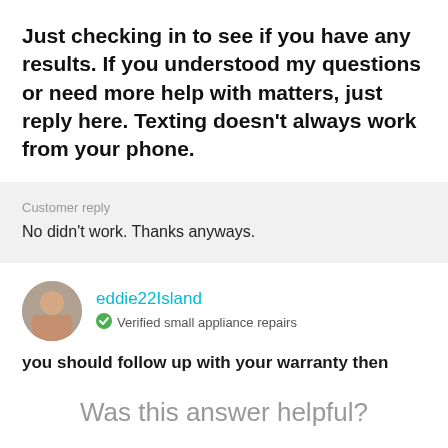Just checking in to see if you have any results. If you understood my questions or need more help with matters, just reply here. Texting doesn't always work from your phone.
Customer reply
No didn't work. Thanks anyways.
eddie22Island
Verified small appliance repairs
you should follow up with your warranty then
Was this answer helpful?